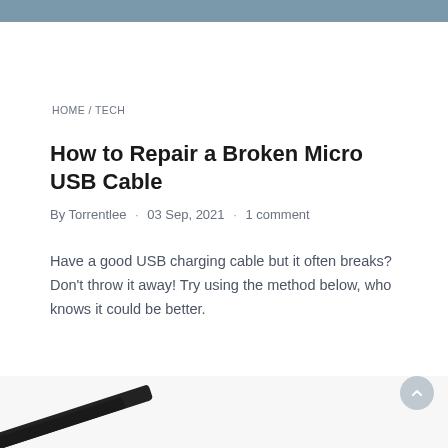HOME / TECH
How to Repair a Broken Micro USB Cable
By Torrentlee · 03 Sep, 2021 · 1 comment
Have a good USB charging cable but it often breaks? Don't throw it away! Try using the method below, who knows it could be better.
[Figure (photo): Bottom portion showing a dark pencil or cable against a light background, partially visible at the bottom of the page.]